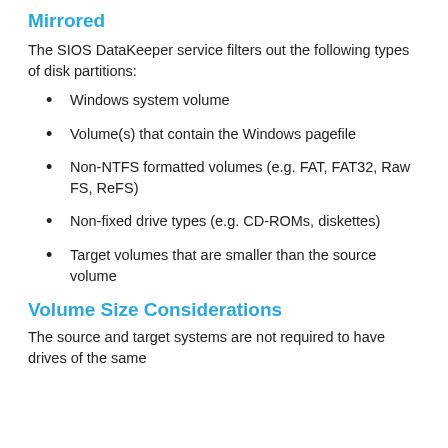Mirrored
The SIOS DataKeeper service filters out the following types of disk partitions:
Windows system volume
Volume(s) that contain the Windows pagefile
Non-NTFS formatted volumes (e.g. FAT, FAT32, Raw FS, ReFS)
Non-fixed drive types (e.g. CD-ROMs, diskettes)
Target volumes that are smaller than the source volume
Volume Size Considerations
The source and target systems are not required to have drives of the same